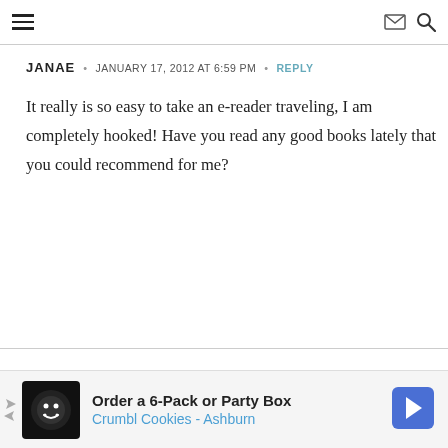Navigation menu, mail icon, search icon
JANAE • JANUARY 17, 2012 AT 6:59 PM • REPLY
It really is so easy to take an e-reader traveling, I am completely hooked! Have you read any good books lately that you could recommend for me?
Order a 6-Pack or Party Box Crumbl Cookies - Ashburn